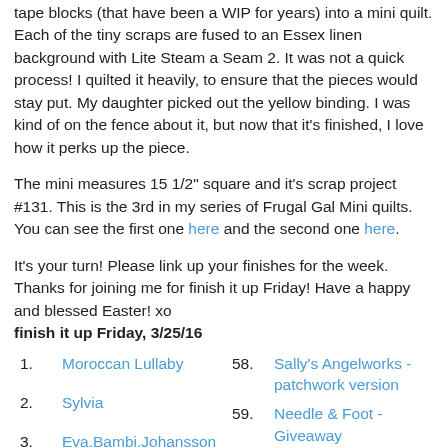tape blocks (that have been a WIP for years) into a mini quilt. Each of the tiny scraps are fused to an Essex linen background with Lite Steam a Seam 2. It was not a quick process! I quilted it heavily, to ensure that the pieces would stay put. My daughter picked out the yellow binding. I was kind of on the fence about it, but now that it's finished, I love how it perks up the piece.
The mini measures 15 1/2" square and it's scrap project #131. This is the 3rd in my series of Frugal Gal Mini quilts. You can see the first one here and the second one here.
It's your turn! Please link up your finishes for the week. Thanks for joining me for finish it up Friday! Have a happy and blessed Easter! xo
finish it up Friday, 3/25/16
1. Moroccan Lullaby
2. Sylvia
3. Eva.Bambi.Johansson
58. Sally's Angelworks - patchwork version
59. Needle & Foot - Giveaway
60. Cathy Tomm
Carla @ Creatin in the